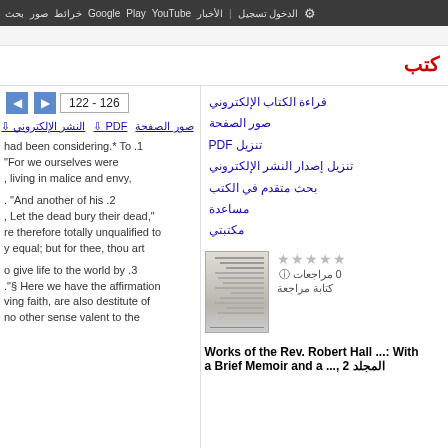بحث صور خرائط Google Play YouTube الأخبار تسجيل الدخول الإعدادات
كتب
122 - 126
صور الصفحة PDF النشر الإلكتروني
1. had been considering.* To
"For we ourselves were
living in malice and envy,

2. "And another of his
Let the dead bury their dead,"
re therefore totally unqualified to
y equal; but for thee, thou art

3. o give life to the world by
."§ Here we have the affirmation
ving faith, are also destitute of
no other sense valent to the
قراءة الكتاب الإلكتروني
صور الصفحة
تنزيل PDF
تنزيل إصدار النشر الإلكتروني
بحث متقدم في الكتب
مساعدة
مكتبتي
0 مراجعات
كتابة مراجعة
[Figure (other): Thumbnail of book cover for Works of the Rev. Robert Hall]
Works of the Rev. Robert Hall ...: With a Brief Memoir and a ..., المجلد 2